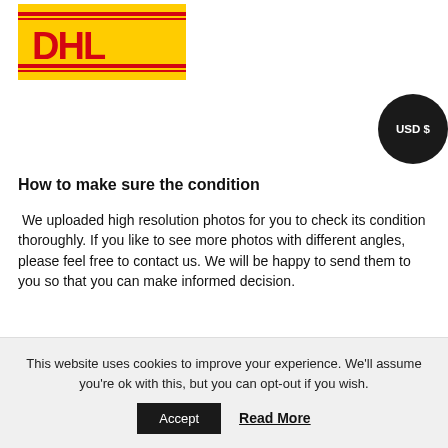[Figure (logo): DHL logo — yellow background with red stylized DHL text and red stripes]
[Figure (other): Round black badge with white text 'USD $']
How to make sure the condition
We uploaded high resolution photos for you to check its condition thoroughly. If you like to see more photos with different angles, please feel free to contact us. We will be happy to send them to you so that you can make informed decision.
It is essential for us to know that you are happy with your choice of Tsuba and we are prepared to use the best of
This website uses cookies to improve your experience. We'll assume you're ok with this, but you can opt-out if you wish.
Accept   Read More